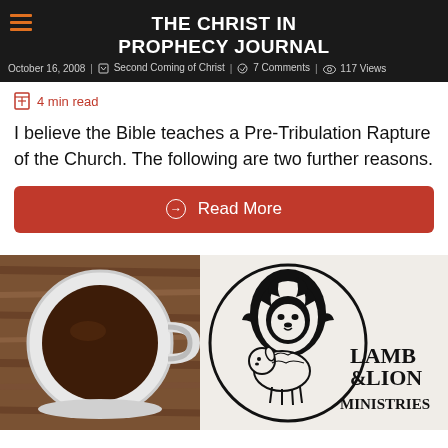THE CHRIST IN PROPHECY JOURNAL
October 16, 2008  Second Coming of Christ  7 Comments  117 Views
4 min read
I believe the Bible teaches a Pre-Tribulation Rapture of the Church. The following are two further reasons.
Read More
[Figure (photo): Top-down view of a white coffee mug filled with dark coffee on a wooden table surface]
[Figure (logo): Lamb and Lion Ministries logo featuring a lion and lamb inside a circle with text 'LAMB & LION MINISTRIES']